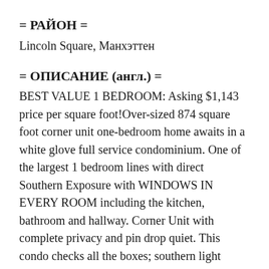= РАЙОН =
Lincoln Square, Манхэттен
= ОПИСАНИЕ (англ.) =
BEST VALUE 1 BEDROOM: Asking $1,143 price per square foot!Over-sized 874 square foot corner unit one-bedroom home awaits in a white glove full service condominium. One of the largest 1 bedroom lines with direct Southern Exposure with WINDOWS IN EVERY ROOM including the kitchen, bathroom and hallway. Corner Unit with complete privacy and pin drop quiet. This condo checks all the boxes; southern light exposure throughout,